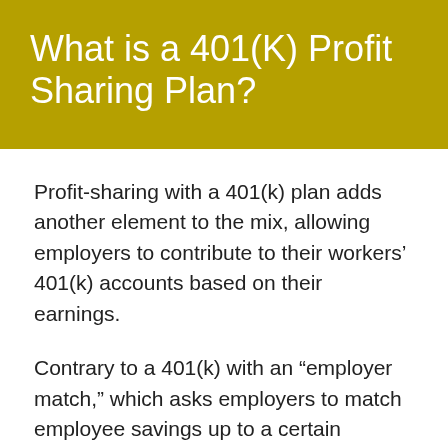What is a 401(K) Profit Sharing Plan?
Profit-sharing with a 401(k) plan adds another element to the mix, allowing employers to contribute to their workers' 401(k) accounts based on their earnings.
Contrary to a 401(k) with an “employer match,” which asks employers to match employee savings up to a certain percentage of their